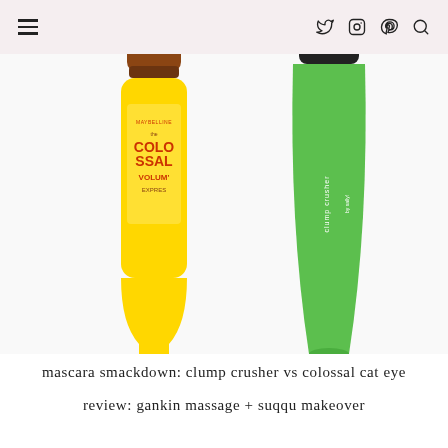≡  ♦ ◎ ● 🔍
[Figure (photo): Two mascara tubes side by side on a white background: a yellow Maybelline Colossal Volum' Express mascara on the left and a green CoverGirl Clump Crusher mascara on the right.]
mascara smackdown: clump crusher vs colossal cat eye
review: gankin massage + suqqu makeover